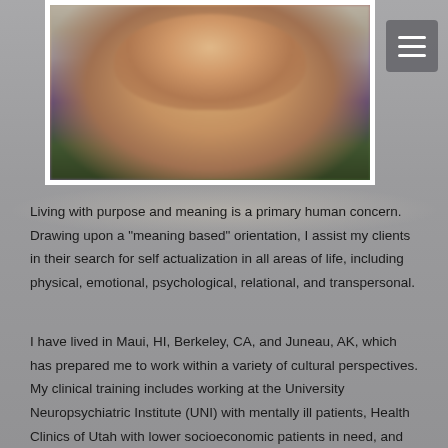[Figure (photo): Portrait photo of a smiling person outdoors, with green foliage visible in the background. The photo has a white border/frame.]
Living with purpose and meaning is a primary human concern. Drawing upon a "meaning based" orientation, I assist my clients in their search for self actualization in all areas of life, including physical, emotional, psychological, relational, and transpersonal.
I have lived in Maui, HI, Berkeley, CA, and Juneau, AK, which has prepared me to work within a variety of cultural perspectives. My clinical training includes working at the University Neuropsychiatric Institute (UNI) with mentally ill patients, Health Clinics of Utah with lower socioeconomic patients in need, and Sandy Counseling Center assisting with domestic violent groups. I find great meaning and purpose in my